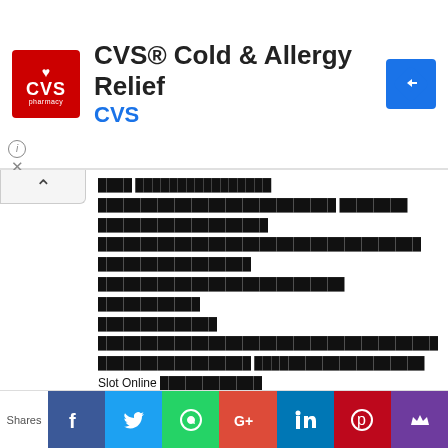[Figure (screenshot): CVS Pharmacy logo - red square with white CVS pharmacy text and heart icon]
CVS® Cold & Allergy Relief
CVS
[Figure (logo): Blue diamond navigation/directions icon]
Thai language spam/promotional text with 'Slot Online' mention and year 2021, hashtag and URL https://Beo333.Com/
[Figure (photo): We Are Hiring! Warehouse job advertisement image]
Recommended for you
Jobs in...
Shares | Facebook | Twitter | WhatsApp | Google+ | LinkedIn | Pinterest | Crown